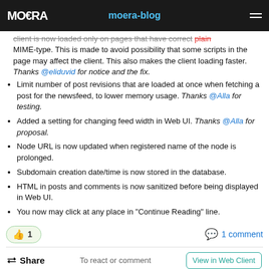moera-blog
client is now loaded only on pages that have correct 'plain' MIME-type. This is made to avoid possibility that some scripts in the page may affect the client. This also makes the client loading faster. Thanks @eliduvid for notice and the fix.
Limit number of post revisions that are loaded at once when fetching a post for the newsfeed, to lower memory usage. Thanks @Alla for testing.
Added a setting for changing feed width in Web UI. Thanks @Alla for proposal.
Node URL is now updated when registered name of the node is prolonged.
Subdomain creation date/time is now stored in the database.
HTML in posts and comments is now sanitized before being displayed in Web UI.
You now may click at any place in "Continue Reading" line.
👍 1   💬 1 comment
Share   To react or comment   View in Web Client